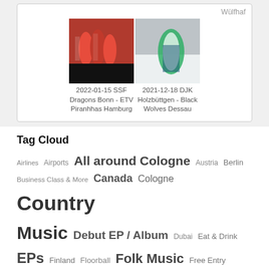Wülfhaf
[Figure (photo): Two sports photos side by side. Left: team in red jerseys (SSF Dragons Bonn - ETV Piranhhas Hamburg, 2022-01-15). Right: player in green/white jersey (DJK Holzbüttgen - Black Wolves Dessau, 2021-12-18).]
2022-01-15 SSF Dragons Bonn - ETV Piranhhas Hamburg
2021-12-18 DJK Holzbüttgen - Black Wolves Dessau
Tag Cloud
Airlines  Airports  All around Cologne  Austria  Berlin  Business Class & More  Canada  Cologne  Country Music  Debut EP / Album  Dubai  Eat & Drink  EPs  Finland  Floorball  Folk Music  Free Entry  German Artists  German Schlager  ...